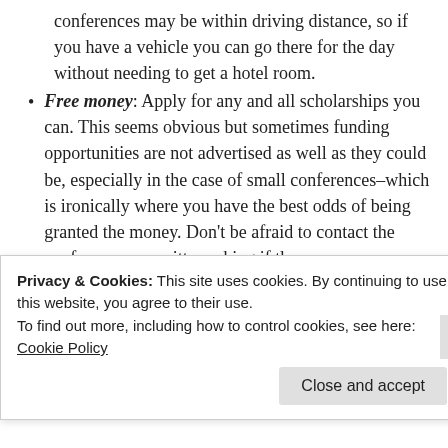conferences may be within driving distance, so if you have a vehicle you can go there for the day without needing to get a hotel room.
Free money: Apply for any and all scholarships you can. This seems obvious but sometimes funding opportunities are not advertised as well as they could be, especially in the case of small conferences–which is ironically where you have the best odds of being granted the money. Don't be afraid to contact the conference committee asking if there are any scholarships available to help students attend and present at the conference in question.
Band together: Actively seek out others in your program who want to carpool and/or split a hotel room. Not only is it incredibly nice to have a support system when you're experiencing imposter syndrome, this can really break the
Privacy & Cookies: This site uses cookies. By continuing to use this website, you agree to their use.
To find out more, including how to control cookies, see here:
Cookie Policy
Close and accept